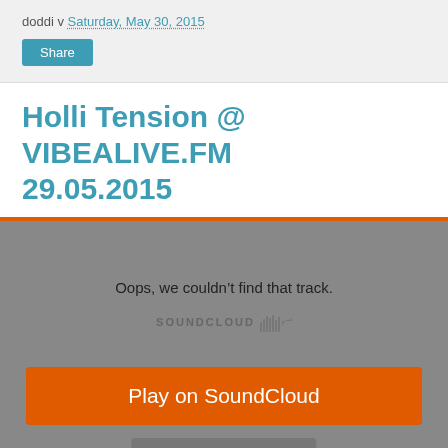doddi v Saturday, May 30, 2015
Share
Holli Tension @ VIBEALIVE.FM 29.05.2015
[Figure (screenshot): SoundCloud embedded player showing error: 'Oops, we couldn't find that track.' with SOUNDCLOUD logo, an orange 'Play on SoundCloud' button, and a grey 'Listen in browser' button.]